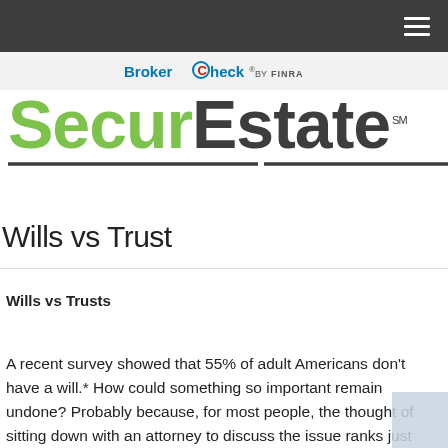BrokerCheck by FINRA
[Figure (logo): SecurEstate logo with green 'Secur' and dark 'Estate' text, service mark symbol, with two underline segments below]
Wills vs Trust
Wills vs Trusts
A recent survey showed that 55% of adult Americans don't have a will.* How could something so important remain undone? Probably because, for most people, the thought of sitting down with an attorney to discuss the issue ranks just below getting a double root canal.